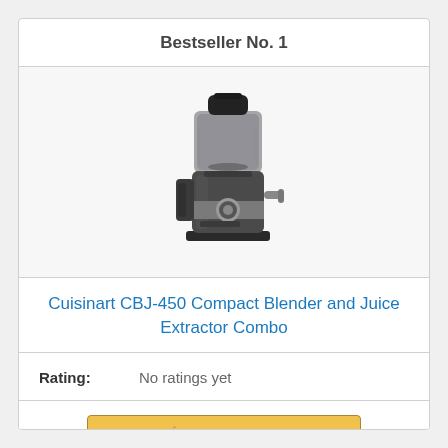Bestseller No. 1
[Figure (photo): Cuisinart CBJ-450 Compact Blender and Juice Extractor Combo product photo — dark gray/black appliance with transparent pitcher on top and chrome control dial]
Cuisinart CBJ-450 Compact Blender and Juice Extractor Combo
Rating: No ratings yet
Buy on Amazon